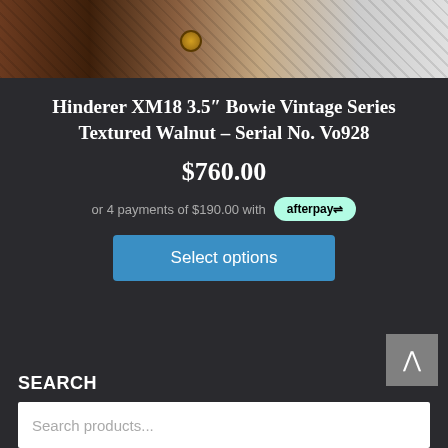[Figure (photo): Close-up photo of a Hinderer XM18 knife with textured walnut handle pattern, partial view showing decorative hardware and knurled texture.]
Hinderer XM18 3.5″ Bowie Vintage Series Textured Walnut – Serial No. Vo928
$760.00
or 4 payments of $190.00 with afterpay
Select options
SEARCH
Search products...